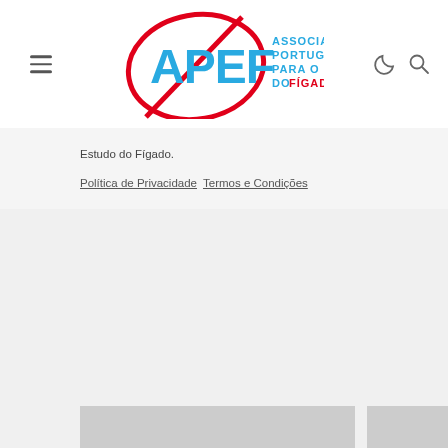[Figure (logo): APEF logo — Associação Portuguesa Para o Estudo do Fígado, with red oval outline around blue APEF letters and blue/red text on the right]
Estudo do Fígado.
Política de Privacidade  Termos e Condições